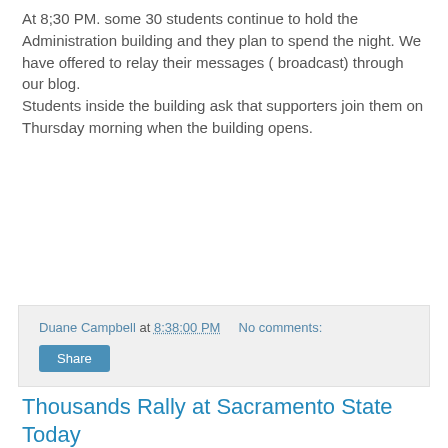At 8;30 PM. some 30 students continue to hold the Administration building and they plan to spend the night. We have offered to relay their messages ( broadcast) through our blog.
Students inside the building ask that supporters join them on Thursday morning when the building opens.
Duane Campbell at 8:38:00 PM   No comments:
Share
Thousands Rally at Sacramento State Today
[Figure (photo): Outdoor rally scene with crowd of people holding signs among green trees, partial view]